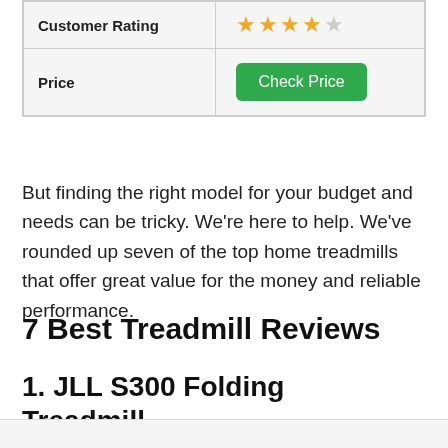| Customer Rating | ★★★★☆ |
| Price | Check Price |
But finding the right model for your budget and needs can be tricky. We're here to help. We've rounded up seven of the top home treadmills that offer great value for the money and reliable performance.
7 Best Treadmill Reviews
1. JLL S300 Folding Treadmill